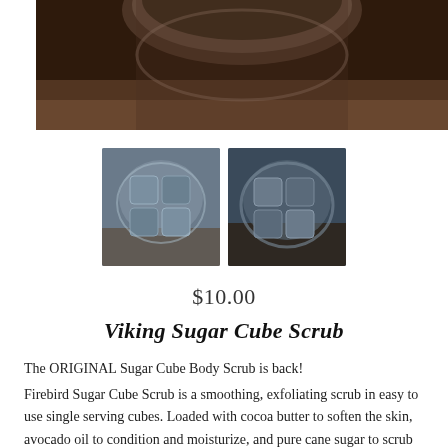[Figure (photo): Top portion of a glass jar containing dark blue-grey sugar cubes, photographed from above on a wooden surface. Only the bottom portion of the jar is visible.]
[Figure (photo): Two thumbnail images of the Viking Sugar Cube Scrub product: dark blue-grey sugar cubes in a glass jar, shown from slightly different angles.]
$10.00
Viking Sugar Cube Scrub
The ORIGINAL Sugar Cube Body Scrub is back!
Firebird Sugar Cube Scrub is a smoothing, exfoliating scrub in easy to use single serving cubes. Loaded with cocoa butter to soften the skin, avocado oil to condition and moisturize, and pure cane sugar to scrub and polish. This formula rinses clean (no oil slick on your shower floor--or on you) leaving your skin soft and smooth. The solid cube form means you can take just